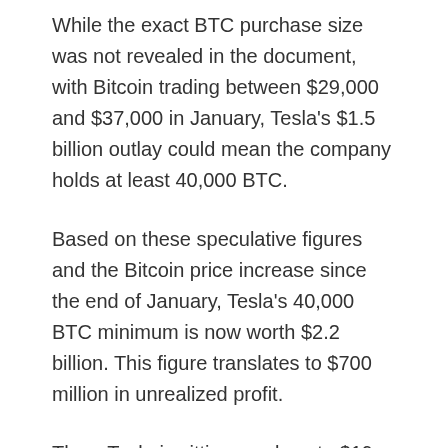While the exact BTC purchase size was not revealed in the document, with Bitcoin trading between $29,000 and $37,000 in January, Tesla's $1.5 billion outlay could mean the company holds at least 40,000 BTC.
Based on these speculative figures and the Bitcoin price increase since the end of January, Tesla's 40,000 BTC minimum is now worth $2.2 billion. This figure translates to $700 million in unrealized profit.
Thus, Tesla is sitting on close to $19 million in unrealized profit per day over the 37-day period since it commenced its Bitcoin purchases.